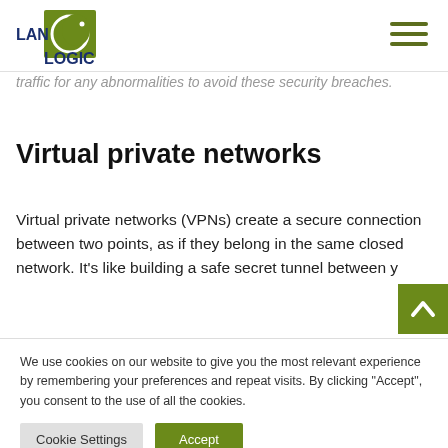[Figure (logo): LAN Logic logo — green square with white crescent/cat icon, and 'LAN LOGIC' text in blue and dark blue]
[Figure (other): Hamburger menu icon — three horizontal dark olive/green lines]
traffic for any abnormalities to avoid these security breaches.
Virtual private networks
Virtual private networks (VPNs) create a secure connection between two points, as if they belong in the same closed network. It's like building a safe secret tunnel between y
We use cookies on our website to give you the most relevant experience by remembering your preferences and repeat visits. By clicking “Accept”, you consent to the use of all the cookies.